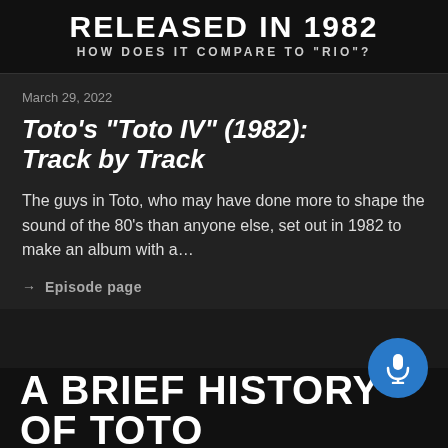RELEASED IN 1982
HOW DOES IT COMPARE TO "RIO"?
March 29, 2022
Toto's "Toto IV" (1982): Track by Track
The guys in Toto, who may have done more to shape the sound of the 80's than anyone else, set out in 1982 to make an album with a…
→ Episode page
A BRIEF HISTORY OF TOTO